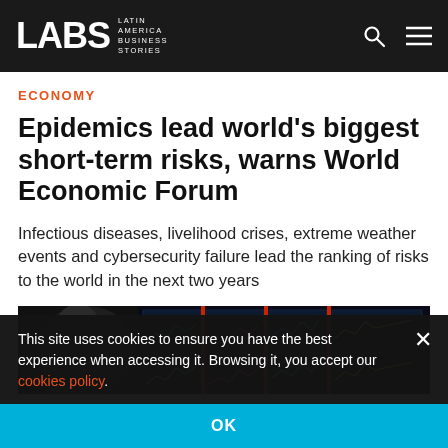LABS Latin America Business Stories
ECONOMY
Epidemics lead world's biggest short-term risks, warns World Economic Forum
Infectious diseases, livelihood crises, extreme weather events and cybersecurity failure lead the ranking of risks to the world in the next two years
[Figure (photo): Dark financial trading screens with charts and data, person's silhouette visible on left side]
This site uses cookies to ensure you have the best experience when accessing it. Browsing it, you accept our cookies policy.
OK